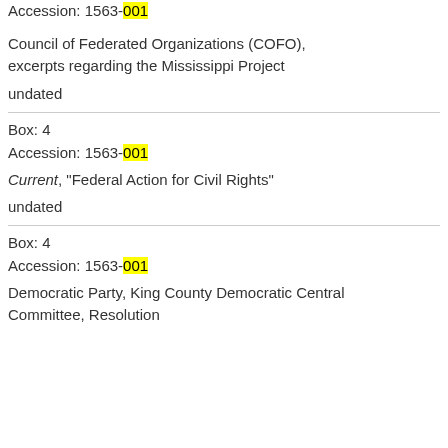Accession: 1563-001
Council of Federated Organizations (COFO), excerpts regarding the Mississippi Project
undated
Box: 4
Accession: 1563-001
Current, "Federal Action for Civil Rights"
undated
Box: 4
Accession: 1563-001
Democratic Party, King County Democratic Central Committee, Resolution